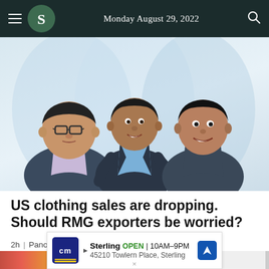Monday August 29, 2022
[Figure (illustration): Illustrated portraits of three men in business/casual attire against a light blue background]
US clothing sales are dropping. Should RMG exporters be worried?
2h | Panorama
[Figure (photo): Partial bottom image strip showing colorful content and a down arrow scroll button]
Sterling OPEN 10AM–9PM 45210 Towlern Place, Sterling